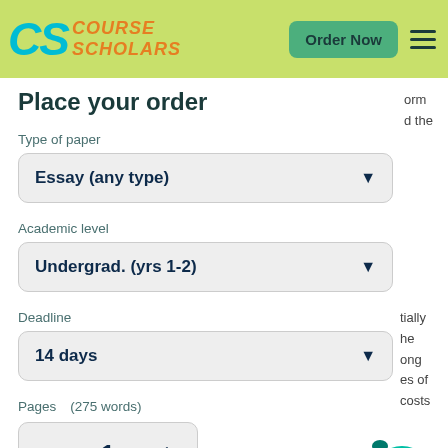CS Course Scholars — Order Now
Place your order
Type of paper
Essay (any type)
Academic level
Undergrad. (yrs 1-2)
Deadline
14 days
Pages    (275 words)
1